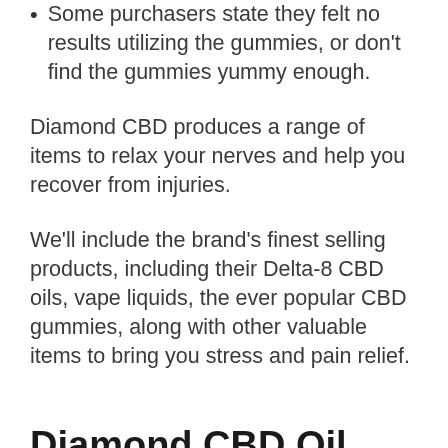Some purchasers state they felt no results utilizing the gummies, or don't find the gummies yummy enough.
Diamond CBD produces a range of items to relax your nerves and help you recover from injuries.
We'll include the brand's finest selling products, including their Delta-8 CBD oils, vape liquids, the ever popular CBD gummies, along with other valuable items to bring you stress and pain relief.
Diamond CBD Oil Evaluation